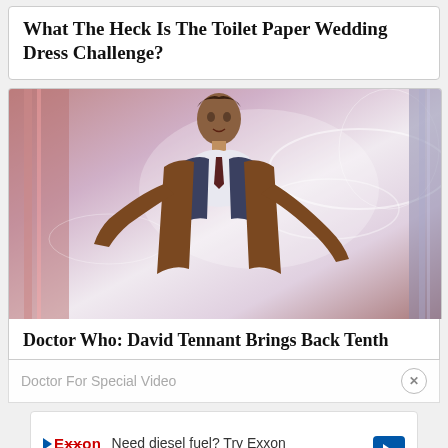What The Heck Is The Toilet Paper Wedding Dress Challenge?
[Figure (photo): Photo of David Tennant as the Tenth Doctor in Doctor Who, wearing a brown coat over a blue suit, with a dramatic sci-fi background of swirling light effects]
Doctor Who: David Tennant Brings Back Tenth
Doctor For Special Video
[Figure (other): Exxon advertisement: Need diesel fuel? Try Exxon Exxon, with Exxon logo and blue diamond arrow icon]